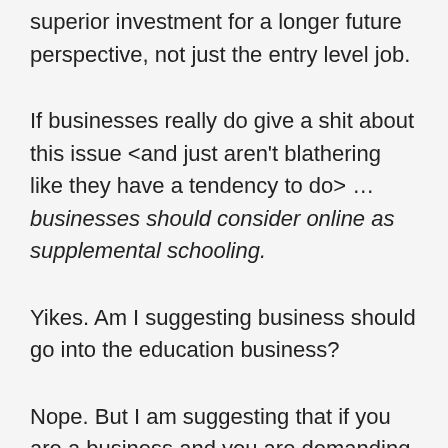superior investment for a longer future perspective, not just the entry level job.
If businesses really do give a shit about this issue <and just aren't blathering like they have a tendency to do> … businesses should consider online as supplemental schooling.
Yikes. Am I suggesting business should go into the education business?
Nope. But I am suggesting that if you are a business and you are demanding that